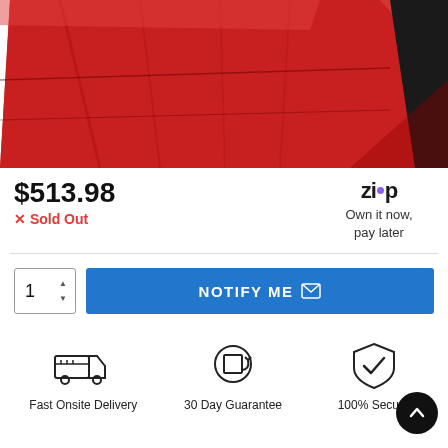[Figure (photo): Red plastic toolbox/case product photo on white background, viewed from above at an angle]
$513.98
✕ Sold Out
[Figure (logo): Zip logo with purple dot between 'zi' and 'p', followed by text 'Own it now, pay later']
Own it now, pay later
NOTIFY ME
[Figure (infographic): Three feature icons: Fast Onsite Delivery (truck icon), 30 Day Guarantee (box with return arrow icon), 100% Secure (shield with checkmark icon)]
Fast Onsite Delivery
30 Day Guarantee
100% Secure